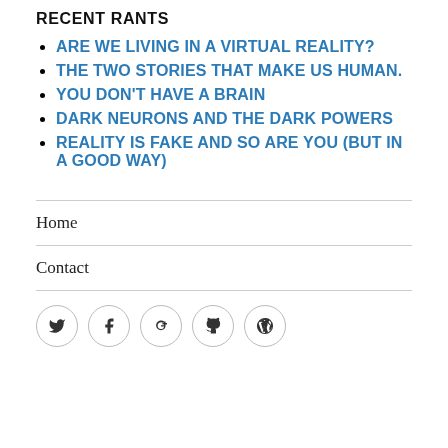RECENT RANTS
ARE WE LIVING IN A VIRTUAL REALITY?
THE TWO STORIES THAT MAKE US HUMAN.
YOU DON'T HAVE A BRAIN
DARK NEURONS AND THE DARK POWERS
REALITY IS FAKE AND SO ARE YOU (BUT IN A GOOD WAY)
Home
Contact
[Figure (infographic): Row of five social media icon circles: Twitter, Facebook, Google+, GitHub, WordPress]